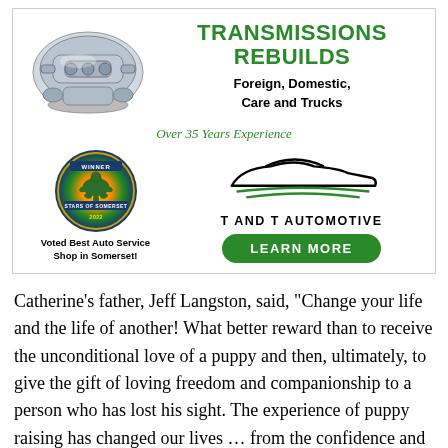[Figure (illustration): Advertisement for T and T Automotive featuring a transmission/engine image, green TRANSMISSIONS REBUILDS heading, service description, Stars of Somerset winner badge, car silhouette logo, and Learn More button.]
Catherine's father, Jeff Langston, said, “Change your life and the life of another! What better reward than to receive the unconditional love of a puppy and then, ultimately, to give the gift of loving freedom and companionship to a person who has lost his sight. The experience of puppy raising has changed our lives … from the confidence and responsibility